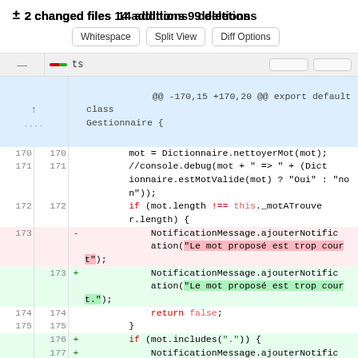± 2 changed files 14 additions 9 deletions
[Figure (screenshot): Git diff view showing code changes in a file. Shows buttons: Whitespace, Split View, Diff Options. A diff hunk header: @@ -170,15 +170,20 @@ export default class Gestionnaire { followed by lines 170-177 with additions and deletions in a JavaScript file.]